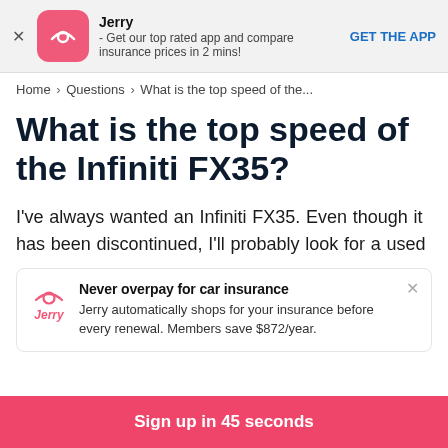[Figure (screenshot): App banner for Jerry insurance app with icon, description, and GET THE APP call to action]
Home > Questions > What is the top speed of the...
What is the top speed of the Infiniti FX35?
I've always wanted an Infiniti FX35. Even though it has been discontinued, I'll probably look for a used
[Figure (infographic): Jerry insurance ad: Never overpay for car insurance. Jerry automatically shops for your insurance before every renewal. Members save $872/year.]
Sign up in 45 seconds